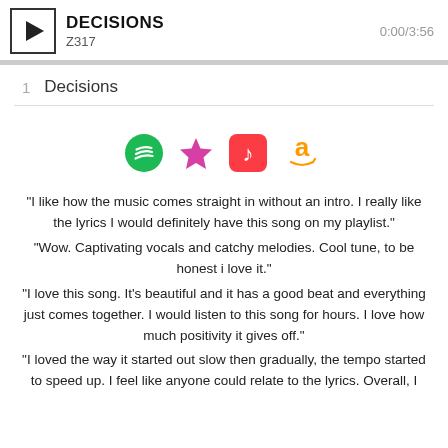DECISIONS Z317  0:00/3:56
1  Decisions
[Figure (infographic): Streaming platform icons: Spotify (green circle), star (pink/magenta), Apple Music (red rounded square with music note), Amazon (orange a with smile)]
"I like how the music comes straight in without an intro. I really like the lyrics I would definitely have this song on my playlist."
"Wow. Captivating vocals and catchy melodies. Cool tune, to be honest i love it."
"I love this song. It's beautiful and it has a good beat and everything just comes together. I would listen to this song for hours. I love how much positivity it gives off."
"I loved the way it started out slow then gradually, the tempo started to speed up. I feel like anyone could relate to the lyrics. Overall, I